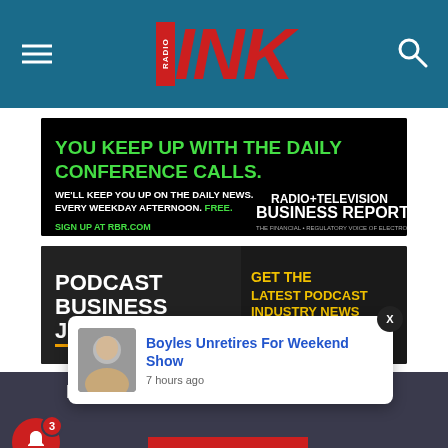RADIO INK
[Figure (advertisement): Radio+Television Business Report ad: YOU KEEP UP WITH THE DAILY CONFERENCE CALLS. WE'LL KEEP YOU UP ON THE DAILY NEWS. EVERY WEEKDAY AFTERNOON. FREE. SIGN UP AT RBR.COM]
[Figure (advertisement): Podcast Business Journal ad: GET THE LATEST PODCAST INDUSTRY NEWS FREE.]
Register NO...
SELL MORE!
Boyles Unretires For Weekend Show
7 hours ago